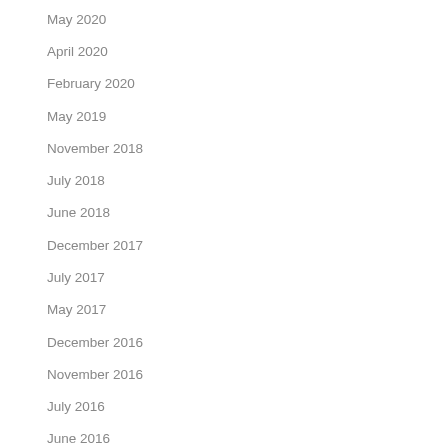May 2020
April 2020
February 2020
May 2019
November 2018
July 2018
June 2018
December 2017
July 2017
May 2017
December 2016
November 2016
July 2016
June 2016